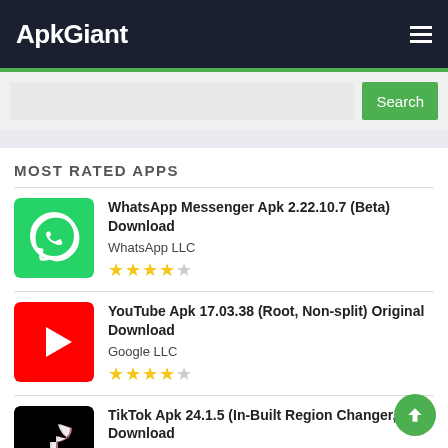ApkGiant
MOST RATED APPS
WhatsApp Messenger Apk 2.22.10.7 (Beta) Download
WhatsApp LLC
★★★★☆
YouTube Apk 17.03.38 (Root, Non-split) Original Download
Google LLC
★★★★☆
TikTok Apk 24.1.5 (In-Built Region Changer, Mod Download
TikTok Pte. Ltd